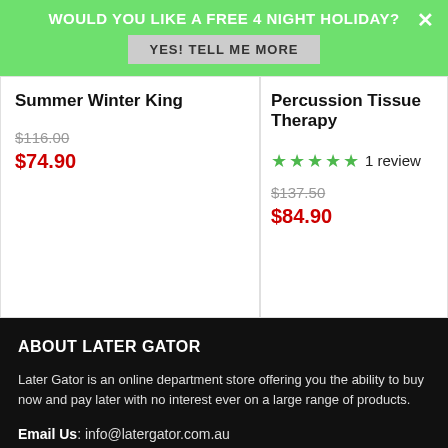WOULD YOU LIKE A FREE 4 NIGHT HOLIDAY?
YES! TELL ME MORE
Summer Winter King
$116.00
$74.90
Percussion Tissue Therapy
1 review
$137.50
$84.90
ABOUT LATER GATOR
Later Gator is an online department store offering you the ability to buy now and pay later with no interest ever on a large range of products.
Email Us: info@latergator.com.au
Call Us: (07) 3130 0205